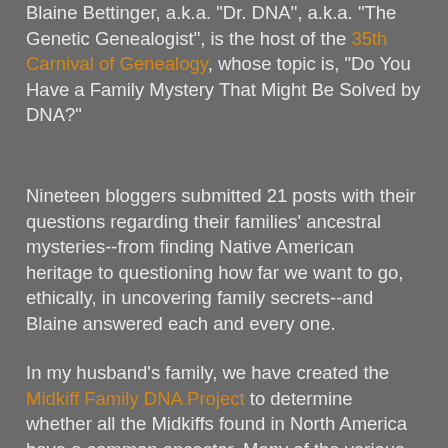Blaine Bettinger, a.k.a. 'Dr. DNA', a.k.a. 'The Genetic Genealogist', is the host of the 35th Carnival of Genealogy, whose topic is, "Do You Have a Family Mystery That Might Be Solved by DNA?"
Nineteen bloggers submitted 21 posts with their questions regarding their families' ancestral mysteries--from finding Native American heritage to questioning how far we want to go, ethically, in uncovering family secrets--and Blaine answered each and every one.
In my husband's family, we have created the Midkiff Family DNA Project to determine whether all the Midkiffs found in North America have a common ancestor. Many of the various Midkiff family lines have "brickwalled" in the early 19th and late 18th centuries, including my husband's line, which "stops" with his earliest known ancestor, Franklin Preston MIDKIFF (c. 1800 - c. 1839) of Lincoln Co. (now Moore Co.), Tennessee. By testing various Midkiff men using the Y-DNA test, we now know of two other Midkiff lines that connect to Franklin, proving a common ancestor who lived sometime between 1700 - 1800, probably in Virginia. The